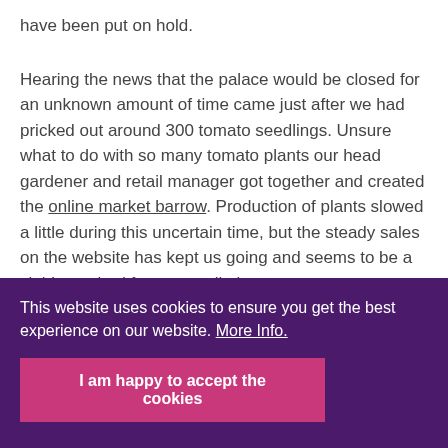have been put on hold.
Hearing the news that the palace would be closed for an unknown amount of time came just after we had pricked out around 300 tomato seedlings. Unsure what to do with so many tomato plants our head gardener and retail manager got together and created the online market barrow. Production of plants slowed a little during this uncertain time, but the steady sales on the website has kept us going and seems to be a viable method for us to sell plants.
This website uses cookies to ensure you get the best experience on our website. More Info.
I am happy to accept the cookies